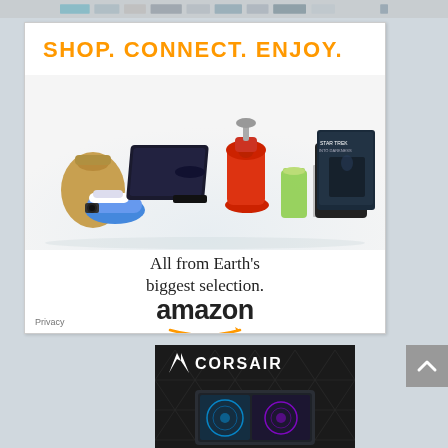[Figure (screenshot): Top banner strip with product thumbnail images]
[Figure (screenshot): Amazon advertisement: SHOP. CONNECT. ENJOY. — All from Earth's biggest selection. amazon logo with smile arrow. Products include bag, sneakers, PS4, KitchenAid mixer, smoothie, books, Kindle tablets, Star Trek movie. Privacy link bottom left.]
[Figure (screenshot): Corsair advertisement with dark background, triangle pattern, Corsair logo, and PC case product image.]
[Figure (screenshot): Gray scroll-to-top button with upward arrow]